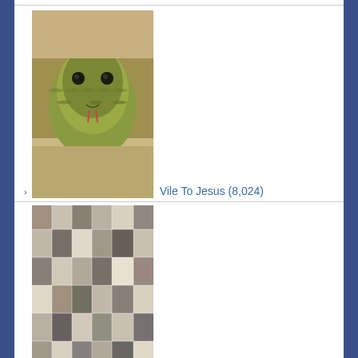Vile To Jesus (8,024)
Ashamed of Yourself? (2,858)
The Passion Translation (TPT) and why not to use it (2,221)